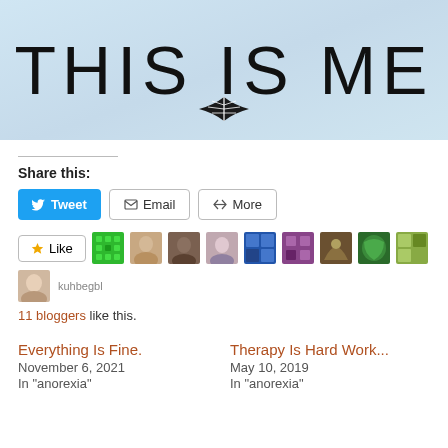[Figure (illustration): Blog header image with light blue watercolor background showing large text 'THIS IS ME' in thin decorative font with a leaf/branch icon below]
Share this:
Tweet | Email | More
Like | [blogger avatars]
11 bloggers like this.
Everything Is Fine.
November 6, 2021
In "anorexia"
Therapy Is Hard Work...
May 10, 2019
In "anorexia"